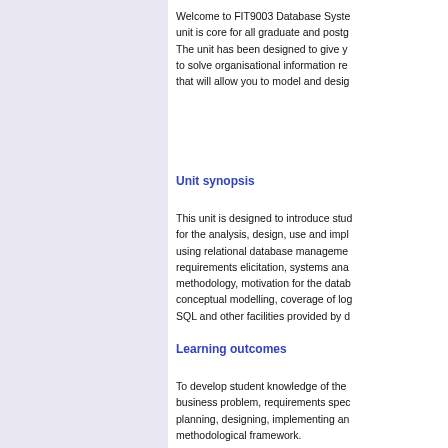Welcome to FIT9003 Database Systems. This unit is core for all graduate and postgraduate programs. The unit has been designed to give you the skills to solve organisational information requirements problems that will allow you to model and design databases.
Unit synopsis
This unit is designed to introduce students to techniques for the analysis, design, use and implementation of databases using relational database management systems. Topics include requirements elicitation, systems analysis, database design methodology, motivation for the database approach, data and conceptual modelling, coverage of logical and physical design, SQL and other facilities provided by database systems.
Learning outcomes
To develop student knowledge of the techniques for business problem, requirements specification analysis, planning, designing, implementing and maintaining within a methodological framework.
Workload